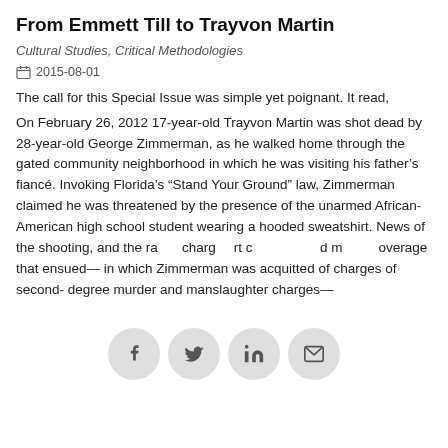From Emmett Till to Trayvon Martin
Cultural Studies, Critical Methodologies
2015-08-01
The call for this Special Issue was simple yet poignant. It read,
On February 26, 2012 17-year-old Trayvon Martin was shot dead by 28-year-old George Zimmerman, as he walked home through the gated community neighborhood in which he was visiting his father's fiancé. Invoking Florida's “Stand Your Ground” law, Zimmerman claimed he was threatened by the presence of the unarmed African-American high school student wearing a hooded sweatshirt. News of the shooting, and the ra[cial] charg[es] [co]urt c[overage an]d m[edia c]overage that ensued— in which Zimmerman was acquitted of charges of second- degree murder and manslaughter charges—